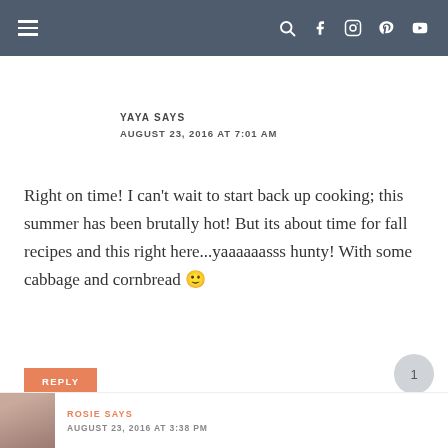Navigation bar with hamburger menu and social icons
YAYA SAYS
AUGUST 23, 2016 AT 7:01 AM
Right on time! I can’t wait to start back up cooking; this summer has been brutally hot! But its about time for fall recipes and this right here...yaaaaaasss hunty! With some cabbage and cornbread 🙂
REPLY
ROSIE SAYS
AUGUST 23, 2016 AT 3:38 PM